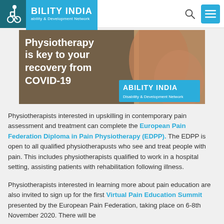ABILITY INDIA — Disability & Development Network
[Figure (photo): Banner image with text 'Physiotherapy is key to your recovery from COVID-19' overlaid on a physiotherapy session photo, with Ability India Disability & Development Network logo.]
Physiotherapists interested in upskilling in contemporary pain assessment and treatment can complete the European Pain Federation Diploma in Pain Physiotherapy (EDPP). The EDPP is open to all qualified physiotherapusts who see and treat people with pain. This includes physiotherapists qualified to work in a hospital setting, assisting patients with rehabilitation following illness.
Physiotherapists interested in learning more about pain education are also invited to sign up for the first Virtual Pain Education Summit presented by the European Pain Federation, taking place on 6-8th November 2020. There will be